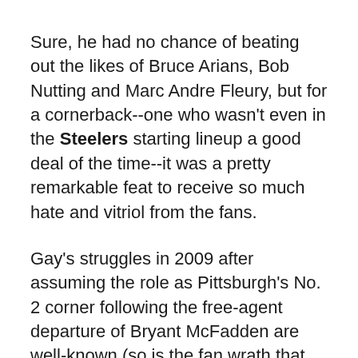Sure, he had no chance of beating out the likes of Bruce Arians, Bob Nutting and Marc Andre Fleury, but for a cornerback--one who wasn't even in the Steelers starting lineup a good deal of the time--it was a pretty remarkable feat to receive so much hate and vitriol from the fans.
Gay's struggles in 2009 after assuming the role as Pittsburgh's No. 2 corner following the free-agent departure of Bryant McFadden are well-known (so is the fan wrath that accompanied the struggles). And they were further cemented the following year, when Rob Gronkowski victimized Gay three times in a memorable home loss to the Patriots on Sunday Night Football. (By that point, Gay was relegated to nickel back, on the to success joining McFadden into a...